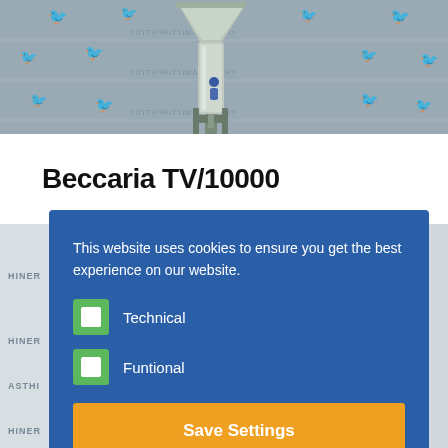[Figure (photo): Industrial equipment (hopper/funnel machine) displayed against a branded backdrop with orange duck logos and company watermark text]
Beccaria TV/10000
[Figure (photo): Second photo of industrial machinery partially visible behind cookie consent overlay]
This website uses cookies to ensure you get the best experience on our website.
Technical
Funtional
Save Settings